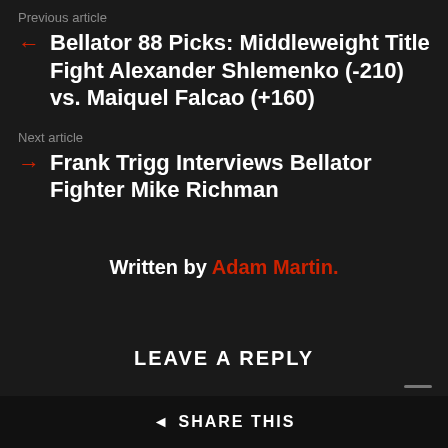Previous article
← Bellator 88 Picks: Middleweight Title Fight Alexander Shlemenko (-210) vs. Maiquel Falcao (+160)
Next article
→ Frank Trigg Interviews Bellator Fighter Mike Richman
Written by Adam Martin.
LEAVE A REPLY
You must be logged in to post a comment.
SHARE THIS